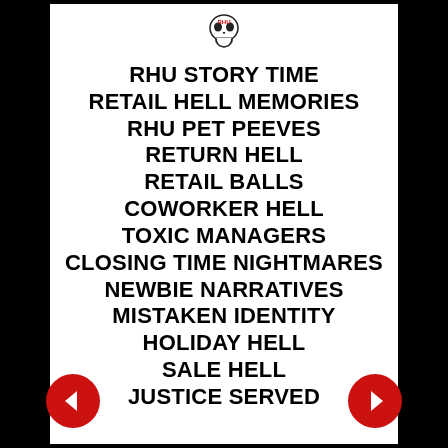[Figure (logo): Skull logo with 'RHU' text in red on a white background]
RHU STORY TIME
RETAIL HELL MEMORIES
RHU PET PEEVES
RETURN HELL
RETAIL BALLS
COWORKER HELL
TOXIC MANAGERS
CLOSING TIME NIGHTMARES
NEWBIE NARRATIVES
MISTAKEN IDENTITY
HOLIDAY HELL
SALE HELL
JUSTICE SERVED